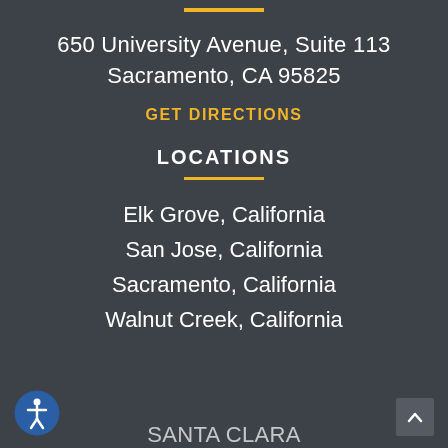650 University Avenue, Suite 113
Sacramento, CA 95825
GET DIRECTIONS
LOCATIONS
Elk Grove, California
San Jose, California
Sacramento, California
Walnut Creek, California